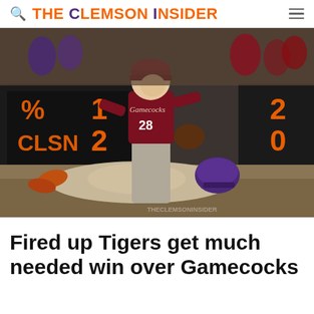THE CLEMSON INSIDER
[Figure (photo): A South Carolina Gamecocks baseball player (#28) wearing a dark red uniform fields a tag play as a Clemson Tigers player in a purple batting helmet slides into a base. A scoreboard showing orange numbers is visible in the background. The Clemson Insider watermark is visible at the bottom right.]
Fired up Tigers get much needed win over Gamecocks